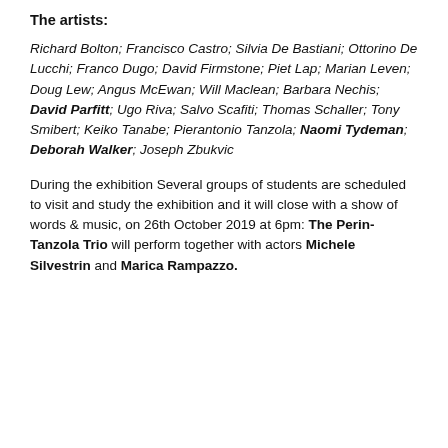The artists:
Richard Bolton; Francisco Castro; Silvia De Bastiani; Ottorino De Lucchi; Franco Dugo; David Firmstone; Piet Lap; Marian Leven; Doug Lew; Angus McEwan; Will Maclean; Barbara Nechis; David Parfitt; Ugo Riva; Salvo Scafiti; Thomas Schaller; Tony Smibert; Keiko Tanabe; Pierantonio Tanzola; Naomi Tydeman; Deborah Walker; Joseph Zbukvic
During the exhibition Several groups of students are scheduled to visit and study the exhibition and it will close with a show of words & music, on 26th October 2019 at 6pm: The Perin-Tanzola Trio will perform together with actors Michele Silvestrin and Marica Rampazzo.